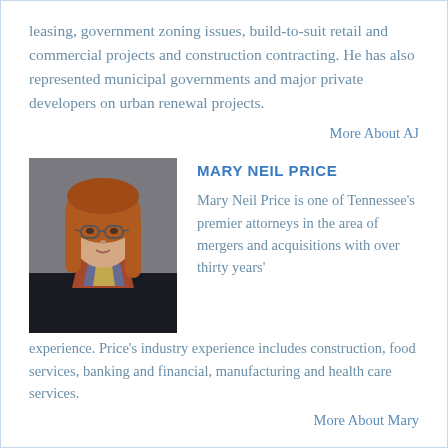leasing, government zoning issues, build-to-suit retail and commercial projects and construction contracting. He has also represented municipal governments and major private developers on urban renewal projects.
More About AJ
MARY NEIL PRICE
[Figure (photo): Professional headshot of Mary Neil Price, a woman with long auburn hair and glasses, wearing a dark blazer and colorful scarf, photographed against a grey background.]
Mary Neil Price is one of Tennessee's premier attorneys in the area of mergers and acquisitions with over thirty years' experience. Price's industry experience includes construction, food services, banking and financial, manufacturing and health care services.
More About Mary